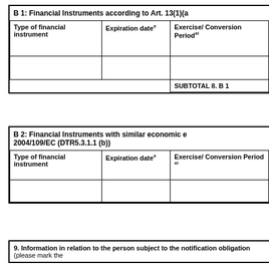| Type of financial instrument | Expiration date^x | Exercise/ Conversion Period^xi |
| --- | --- | --- |
|  |  |  |
| SUBTOTAL 8. B 1 |  |  |
| Type of financial instrument | Expiration date^x | Exercise/ Conversion Period^xi |
| --- | --- | --- |
|  |  |  |
9. Information in relation to the person subject to the notification obligation (please mark the